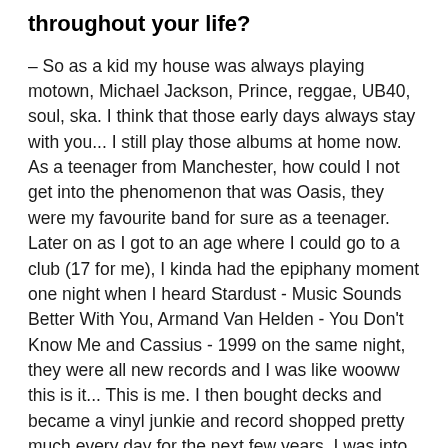throughout your life?
– So as a kid my house was always playing motown, Michael Jackson, Prince, reggae, UB40, soul, ska. I think that those early days always stay with you... I still play those albums at home now. As a teenager from Manchester, how could I not get into the phenomenon that was Oasis, they were my favourite band for sure as a teenager. Later on as I got to an age where I could go to a club (17 for me), I kinda had the epiphany moment one night when I heard Stardust - Music Sounds Better With You, Armand Van Helden - You Don't Know Me and Cassius - 1999 on the same night, they were all new records and I was like wooww this is it... This is me. I then bought decks and became a vinyl junkie and record shopped pretty much every day for the next few years. I was into soulful, funky house at that time, later I got into deeper records, minimal and techno, I traveled to Berlin many times and went to Berghain/Panorama Bar and Watergate and found that really inspiring, that was the